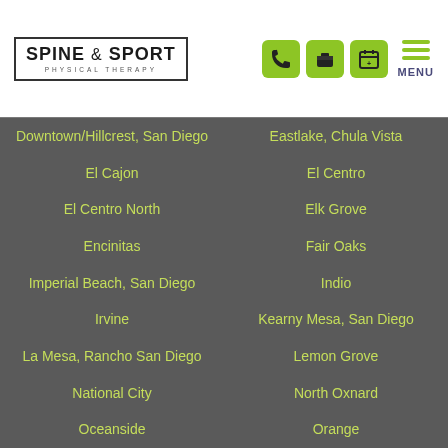[Figure (logo): Spine & Sport Physical Therapy logo in a bordered box]
[Figure (infographic): Navigation icons: phone, briefcase, calendar (green buttons) and MENU with hamburger icon]
Downtown/Hillcrest, San Diego
Eastlake, Chula Vista
El Cajon
El Centro
El Centro North
Elk Grove
Encinitas
Fair Oaks
Imperial Beach, San Diego
Indio
Irvine
Kearny Mesa, San Diego
La Mesa, Rancho San Diego
Lemon Grove
National City
North Oxnard
Oceanside
Orange